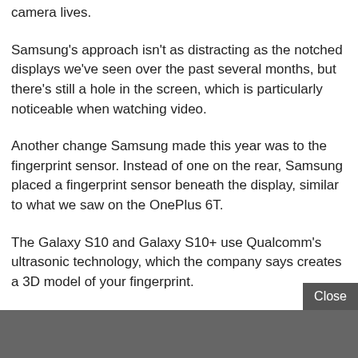camera lives.
Samsung's approach isn't as distracting as the notched displays we've seen over the past several months, but there's still a hole in the screen, which is particularly noticeable when watching video.
Another change Samsung made this year was to the fingerprint sensor. Instead of one on the rear, Samsung placed a fingerprint sensor beneath the display, similar to what we saw on the OnePlus 6T.
The Galaxy S10 and Galaxy S10+ use Qualcomm's ultrasonic technology, which the company says creates a 3D model of your fingerprint.